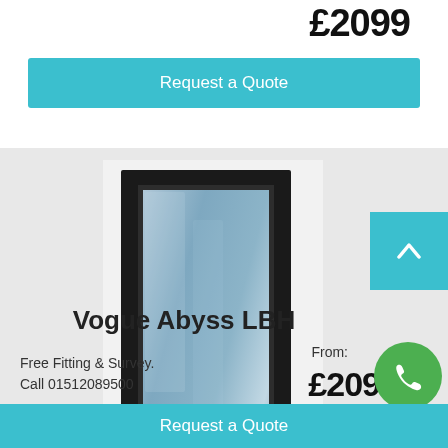£2099
Request a Quote
[Figure (photo): Product photo of Vogue Abyss LBH door – a tall narrow black door with glass panel insert, shown against light background]
Vogue Abyss LBH
Free Fitting & Survey.
Call 01512089500
From:
£209
Request a Quote